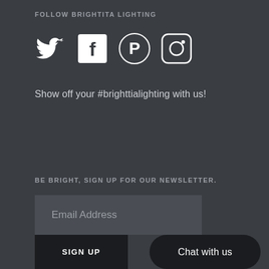FOLLOW BRIGHTITA LIGHTING
[Figure (illustration): Four social media icons: Twitter bird, Facebook F in square, Pinterest P in circle, Instagram camera in square]
Show off your #brighttialighting with us!
BE BRIGHT, SIGN UP FOR OUR NEWSLETTER.
Email Address
SIGN UP
Chat with us